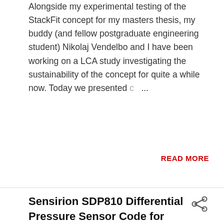Alongside my experimental testing of the StackFit concept for my masters thesis, my buddy (and fellow postgraduate engineering student) Nikolaj Vendelbo and I have been working on a LCA study investigating the sustainability of the concept for quite a while now. Today we presented c ...
READ MORE
Sensirion SDP810 Differential Pressure Sensor Code for Arduino
- October 14, 2018
Lately I have been working a lot on a control system to emulate stack effect for use in the experimental setup I'm constructing. For the control system I'm using some small but extremely accurate and fast responding digital pressure differential sensors manufactured by Sensirion. The ...